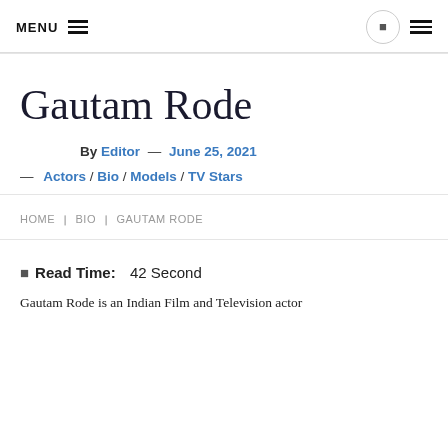MENU
Gautam Rode
By Editor — June 25, 2021
— Actors / Bio / Models / TV Stars
HOME | BIO | GAUTAM RODE
Read Time: 42 Second
Gautam Rode is an Indian Film and Television actor